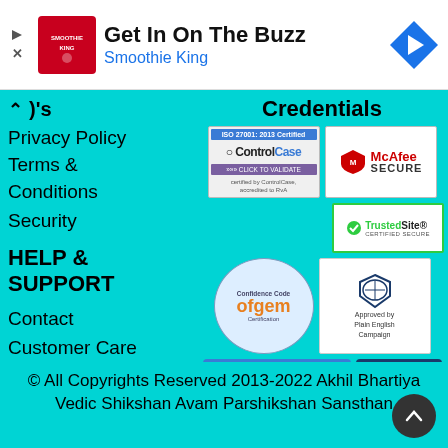[Figure (other): Smoothie King advertisement banner with logo, text 'Get In On The Buzz / Smoothie King', navigation arrow icon]
)'s
Privacy Policy
Terms & Conditions
Security
HELP & SUPPORT
Contact
Customer Care
Credentials
[Figure (other): ISO 27001: 2013 Certified ControlCase badge - CLICK TO VALIDATE, certified by ControlCase, accredited to RvA]
[Figure (logo): McAfee SECURE badge]
[Figure (logo): Ofgem Confidence Code certification badge]
[Figure (logo): Approved by Plain English Campaign badge]
[Figure (logo): PCI compliant by ControlCase badge]
[Figure (logo): Protected by Copyscape badge]
[Figure (logo): TrustedSite Certified Secure badge]
© All Copyrights Reserved 2013-2022 Akhil Bhartiya Vedic Shikshan Avam Parshikshan Sansthan